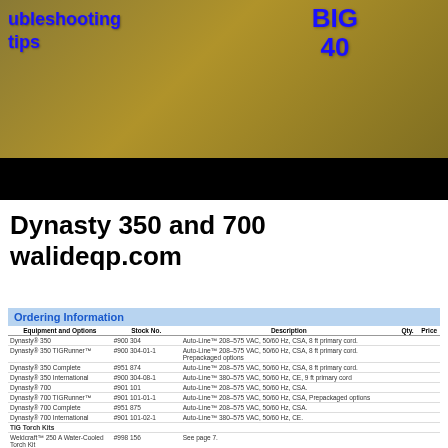[Figure (photo): Photo of a yellow welding machine with 'BIG 40' text and 'troubleshooting tips' overlay text in blue, with a black bar at the bottom.]
Dynasty 350 and 700
walideqp.com
| Equipment and Options | Stock No. | Description | Qty | Price |
| --- | --- | --- | --- | --- |
| Dynasty® 350 | #900 304 | Auto-Line™ 208–575 VAC, 50/60 Hz, CSA, 8 ft primary cord. |  |  |
| Dynasty® 350 TIGRunner™ | #900 304-01-1 | Auto-Line™ 208–575 VAC, 50/60 Hz, CSA, 8 ft primary cord, Prepackaged options |  |  |
| Dynasty® 350 Complete | #951 874 | Auto-Line™ 208–575 VAC, 50/60 Hz, CSA, 8 ft primary cord. |  |  |
| Dynasty® 350 International | #900 304-08-1 | Auto-Line™ 380–575 VAC, 50/60 Hz, CE, 9ft primary cord |  |  |
| Dynasty® 700 | #901 101 | Auto-Line™ 208–575 VAC, 50/60 Hz, CSA. |  |  |
| Dynasty® 700 TIGRunner™ | #901 101-01-1 | Auto-Line™ 208–575 VAC, 50/60 Hz, CSA, Prepackaged options |  |  |
| Dynasty® 700 Complete | #951 875 | Auto-Line™ 208–575 VAC, 50/60 Hz, CSA. |  |  |
| Dynasty® 700 International | #901 101-02-1 | Auto-Line™ 380–575 VAC, 50/60 Hz, CE. |  |  |
| TIG Torch Kits |  |  |  |  |
| Weldcraft™ 250 A Water-Cooled Torch Kit | #998 156 | See page 7. |  |  |
| Weldcraft™ 300 A Water-Cooled Torch Kit | #998 153 | See page 7, Recommended for Dynasty 350 |  |  |
| Weldcraft™ 400 A Water-Cooled Torch Kit | #998 196 | See page 7, Recommended for Dynasty 700 |  |  |
| Consumables and Tungsten |  | Distributor: See Miller Parts Catalog |  |  |
| Gas Cylinder, Hose and Fittings |  |  |  |  |
| Remote Controls |  |  |  |  |
| RFCS-14 | #043 658 | Non-metallic fingertip control |  |  |
| RFCS-14 HD | #194 744 | Heavy-duty foot control |  |  |
| RHC-14 | #028 360 | Hand control |  |  |
| RMLS-14 | #128 237 | Momentary maintained rocker switch |  |  |
| RMS-14 | #040 308 | Momentary rubber dome button |  |  |
| Extension Cords | #122 172 | 25 ft (7.5 m) |  |  |